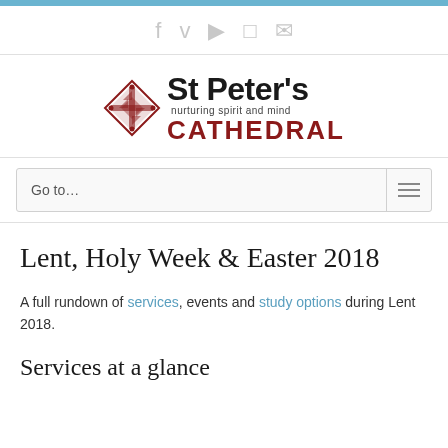Social icons bar: Facebook, Twitter, YouTube, Instagram, Email
[Figure (logo): St Peter's Cathedral logo with diamond cross icon, text 'St Peter's' in bold black, 'nurturing spirit and mind' in small text, 'CATHEDRAL' in bold dark red]
Go to...
Lent, Holy Week & Easter 2018
A full rundown of services, events and study options during Lent 2018.
Services at a glance